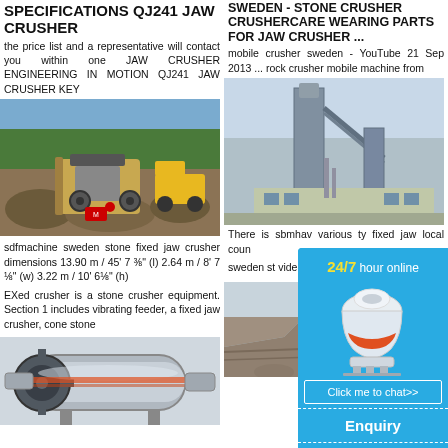SPECIFICATIONS QJ241 JAW CRUSHER
the price list and a representative will contact you within one JAW CRUSHER ENGINEERING IN MOTION QJ241 JAW CRUSHER KEY
[Figure (photo): Jaw crusher machinery operating at a quarry/construction site with yellow loader in background, Mitsubishi logo visible]
sdfmachine sweden stone fixed jaw crusher dimensions 13.90 m / 45' 7 ⅜" (l) 2.64 m / 8' 7 ⅛" (w) 3.22 m / 10' 6⅛" (h)
EXed crusher is a stone crusher equipment. Section 1 includes vibrating feeder, a fixed jaw crusher, cone stone
[Figure (photo): Large industrial ball mill / grinding machine in gray color]
sweden - Stone Crusher crushercare wearing parts for Jaw Crusher ...
mobile crusher sweden - YouTube 21 Sep 2013 ... rock crusher mobile machine from
[Figure (photo): Industrial building/plant structure with tall towers and conveyor systems]
There is sbmhav various ty fixed jaw local coun
sweden st video Get Fixed Ja Stone Fixe
[Figure (photo): Quarry/mining site aerial or landscape view]
[Figure (infographic): 24/7 hour online chat widget with cone crusher machine image, Click me to chat>> button, Enquiry section, and limingjlmofen brand name]